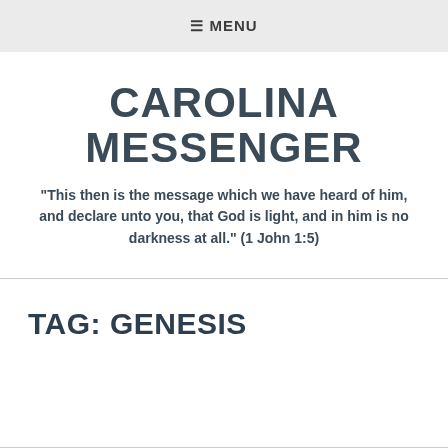≡ MENU
CAROLINA MESSENGER
"This then is the message which we have heard of him, and declare unto you, that God is light, and in him is no darkness at all." (1 John 1:5)
TAG: GENESIS